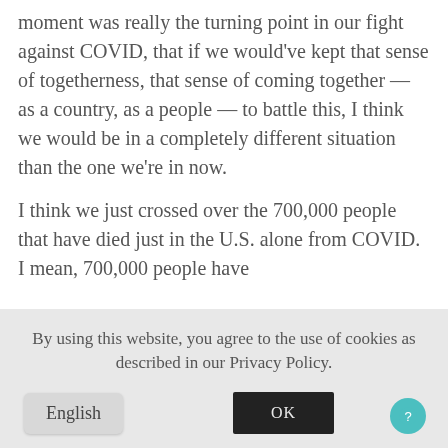moment was really the turning point in our fight against COVID, that if we would've kept that sense of togetherness, that sense of coming together — as a country, as a people — to battle this, I think we would be in a completely different situation than the one we're in now.
I think we just crossed over the 700,000 people that have died just in the U.S. alone from COVID. I mean, 700,000 people have
By using this website, you agree to the use of cookies as described in our Privacy Policy.